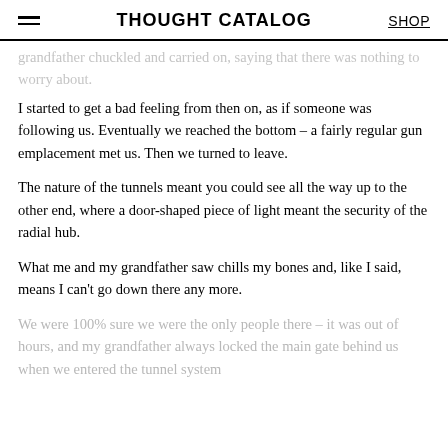THOUGHT CATALOG | SHOP
grandfather chuckled and carried on, saying that there was nothing to worry about.
I started to get a bad feeling from then on, as if someone was following us. Eventually we reached the bottom – a fairly regular gun emplacement met us. Then we turned to leave.
The nature of the tunnels meant you could see all the way up to the other end, where a door-shaped piece of light meant the security of the radial hub.
What me and my grandfather saw chills my bones and, like I said, means I can't go down there any more.
We were 100% sure we were the only people there – it was out of hours, and my grandfather always locked the main gate behind us when we entered the tunnel system